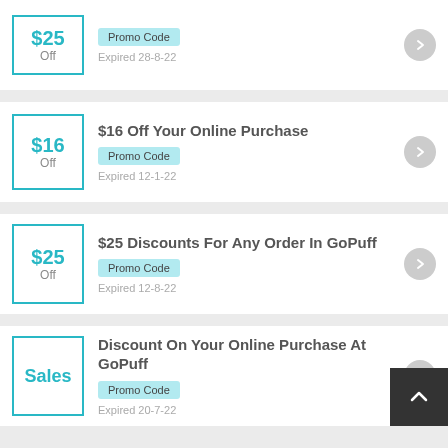$25 Off | Promo Code | Expired 28-8-22
$16 Off Your Online Purchase | $16 Off | Promo Code | Expired 12-1-22
$25 Discounts For Any Order In GoPuff | $25 Off | Promo Code | Expired 12-8-22
Discount On Your Online Purchase At GoPuff | Sales | Promo Code | Expired 20-7-22